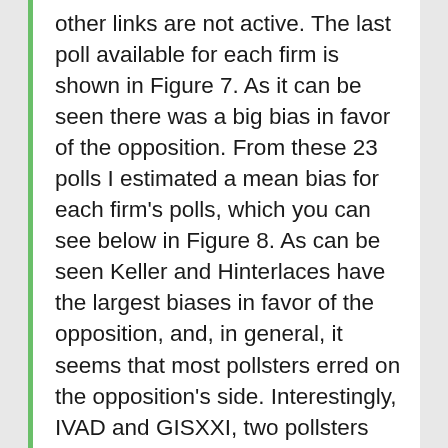other links are not active. The last poll available for each firm is shown in Figure 7. As it can be seen there was a big bias in favor of the opposition. From these 23 polls I estimated a mean bias for each firm's polls, which you can see below in Figure 8. As can be seen Keller and Hinterlaces have the largest biases in favor of the opposition, and, in general, it seems that most pollsters erred on the opposition's side. Interestingly, IVAD and GISXXI, two pollsters that typically have high errors, this time where quite accurate.